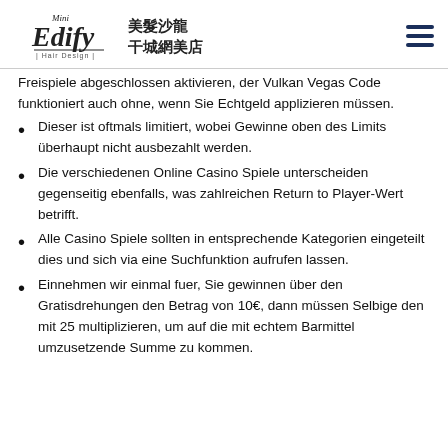Mini Edify Hair Design 美髮沙龍 干城網美店
Freispiele abgeschlossen aktivieren, der Vulkan Vegas Code funktioniert auch ohne, wenn Sie Echtgeld applizieren müssen.
Dieser ist oftmals limitiert, wobei Gewinne oben des Limits überhaupt nicht ausbezahlt werden.
Die verschiedenen Online Casino Spiele unterscheiden gegenseitig ebenfalls, was zahlreichen Return to Player-Wert betrifft.
Alle Casino Spiele sollten in entsprechende Kategorien eingeteilt dies und sich via eine Suchfunktion aufrufen lassen.
Einnehmen wir einmal fuer, Sie gewinnen über den Gratisdrehungen den Betrag von 10€, dann müssen Selbige den mit 25 multiplizieren, um auf die mit echtem Barmittel umzusetzende Summe zu kommen.